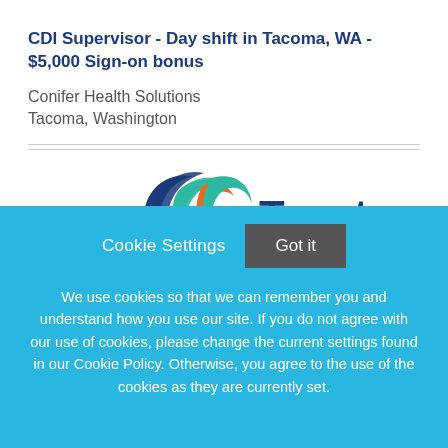CDI Supervisor - Day shift in Tacoma, WA - $5,000 Sign-on bonus
Conifer Health Solutions
Tacoma, Washington
[Figure (logo): Tenet Health logo with circular swoosh design in dark blue, teal, and orange colors, and the word 'Tenet' in dark blue large text]
Cookie Settings   Got it
We use cookies so that we can remember you and understand how you use our site. If you do not agree with our use of cookies, please change the current settings found in our Cookie Policy. Otherwise, you agree to the use of the cookies as they are currently set.